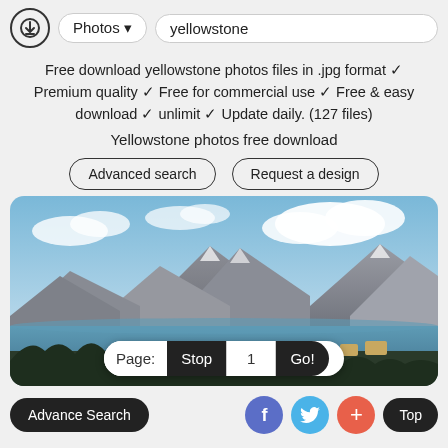Photos ▾  yellowstone
Free download yellowstone photos files in .jpg format ✓ Premium quality ✓ Free for commercial use ✓ Free & easy download ✓ unlimit ✓ Update daily. (127 files)
Yellowstone photos free download
Advanced search   Request a design
[Figure (photo): Scenic landscape photo of Yellowstone mountains and lake under a blue sky with white clouds]
Page: Stop 1 Go!
Advance Search  f  [twitter]  +  Top